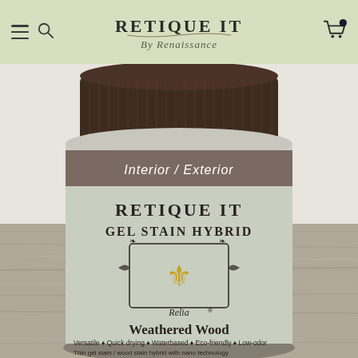Retique It By Renaissance - navigation header with logo, hamburger menu, search, and cart icons
[Figure (photo): A jar of Retique It Gel Stain Hybrid in 'Weathered Wood' color, with a dark brown ribbed lid. The label reads: Interior / Exterior, RETIQUE IT, GEL STAIN HYBRID, with a fleur-de-lis crest emblem, 'Relia' script, 'Weathered Wood', and bullet points: Versatile, Quick drying, Waterbased, Eco-friendly, Low-odor, Thin gel stain / wood stain hybrid with nano technology. The jar sits on a weathered wood surface.]